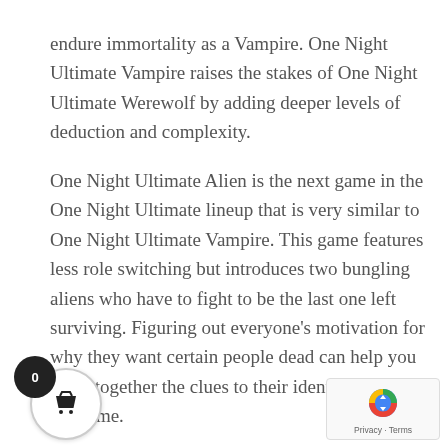endure immortality as a Vampire. One Night Ultimate Vampire raises the stakes of One Night Ultimate Werewolf by adding deeper levels of deduction and complexity.
One Night Ultimate Alien is the next game in the One Night Ultimate lineup that is very similar to One Night Ultimate Vampire. This game features less role switching but introduces two bungling aliens who have to fight to be the last one left surviving. Figuring out everyone's motivation for why they want certain people dead can help you piece together the clues to their identities and win the game.